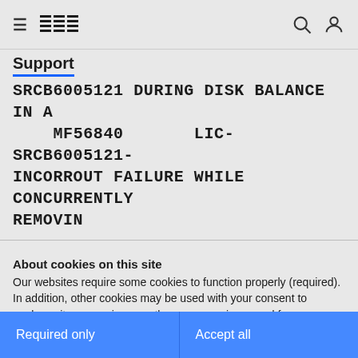IBM
Support
SRCB6005121 DURING DISK BALANCE IN A MF56840       LIC-SRCB6005121- INCORROUT FAILURE WHILE CONCURRENTLY REMOVIN
About cookies on this site
Our websites require some cookies to function properly (required). In addition, other cookies may be used with your consent to analyze site usage, improve the user experience and for advertising.

For more information, please review your Cookie preferences options and IBM's privacy statement.
Required only
Accept all